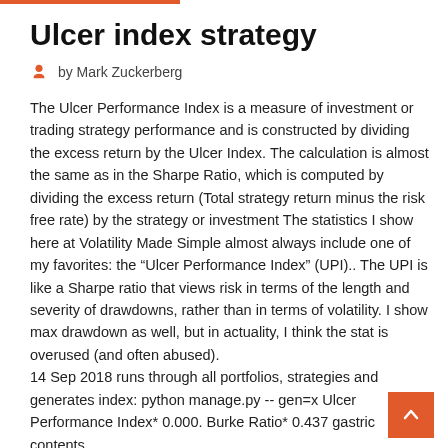Ulcer index strategy
by Mark Zuckerberg
The Ulcer Performance Index is a measure of investment or trading strategy performance and is constructed by dividing the excess return by the Ulcer Index. The calculation is almost the same as in the Sharpe Ratio, which is computed by dividing the excess return (Total strategy return minus the risk free rate) by the strategy or investment The statistics I show here at Volatility Made Simple almost always include one of my favorites: the “Ulcer Performance Index” (UPI).. The UPI is like a Sharpe ratio that views risk in terms of the length and severity of drawdowns, rather than in terms of volatility. I show max drawdown as well, but in actuality, I think the stat is overused (and often abused).
14 Sep 2018 runs through all portfolios, strategies and generates index: python manage.py -- gen=x Ulcer Performance Index* 0.000. Burke Ratio* 0.437 gastric contents,